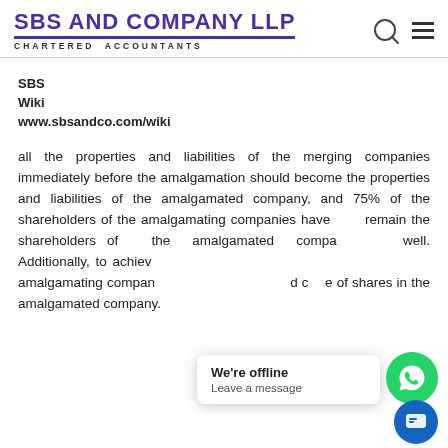SBS AND COMPANY LLP CHARTERED ACCOUNTANTS
SBS
Wiki
www.sbsandco.com/wiki
all the properties and liabilities of the merging companies immediately before the amalgamation should become the properties and liabilities of the amalgamated company, and 75% of the shareholders of the amalgamating companies have to remain the shareholders of the amalgamated company as well. Additionally, to achieve tax neutrality, the shareholders of the amalgamating companies have to receive shares and continue to hold shares in the amalgamated company.